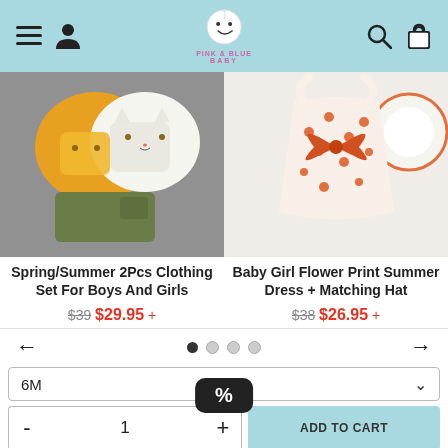Navigation bar with hamburger menu, user icon, logo (Pink & Blue Baby), search icon, cart icon
[Figure (photo): Baby boys clothing set photo: yellow/white top with cat face print and olive green shorts on grey surface]
[Figure (photo): Baby girl floral summer dress with orange bow and matching sun hat on white surface]
Spring/Summer 2Pcs Clothing Set For Boys And Girls
$39 $29.95 +
Baby Girl Flower Print Summer Dress + Matching Hat
$38 $26.95 +
6M
1
ADD TO CART